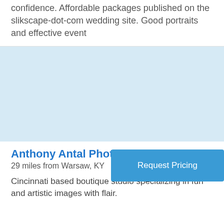confidence. Affordable packages published on the slikscape-dot-com wedding site. Good portraits and effective event
[Figure (photo): Light blue placeholder image area for a photography listing]
Anthony Antal Photography
29 miles from Warsaw, KY
Request Pricing
Cincinnati based boutique studio specializing in fun and artistic images with flair.